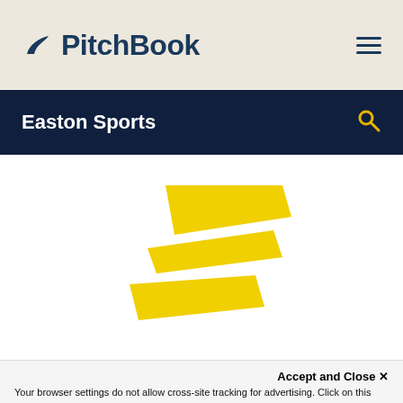PitchBook
Easton Sports
[Figure (logo): Easton Sports logo — a yellow lightning bolt / chevron shape made of three angled parallelogram stripes pointing right]
Accept and Close ✕
Your browser settings do not allow cross-site tracking for advertising. Click on this page to allow AdRoll to use cross-site tracking to tailor ads to you. Learn more or opt out of this AdRoll tracking by clicking here. This message only appears once.